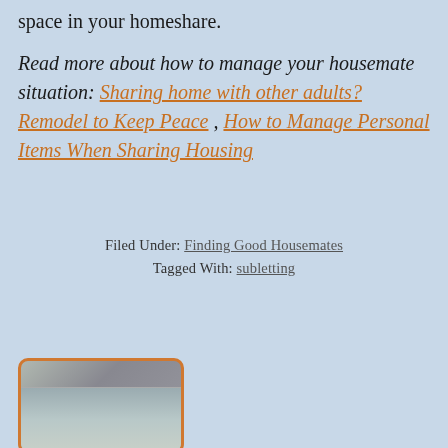space in your homeshare.
Read more about how to manage your housemate situation: Sharing home with other adults? Remodel to Keep Peace , How to Manage Personal Items When Sharing Housing
Filed Under: Finding Good Housemates
Tagged With: subletting
[Figure (photo): A partially visible photo with an orange rounded border, showing what appears to be a person, positioned in the bottom-left area of the page.]